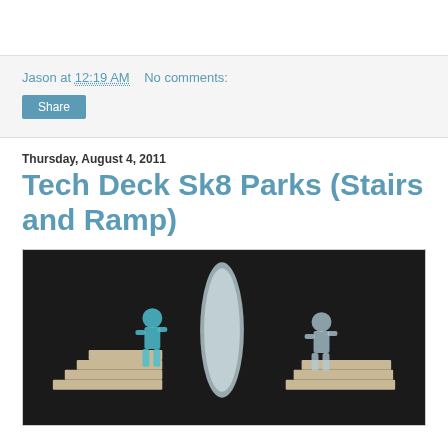Jason at 12:19 AM   No comments:
Share
Thursday, August 4, 2011
Tech Deck Sk8 Parks (Stairs and Ramp)
[Figure (photo): Photo of two translucent action figures (one teal/blue, one clear/grey) positioned around a large clear oval surfboard-shaped object, set on stair-like platform structures against a dark background.]